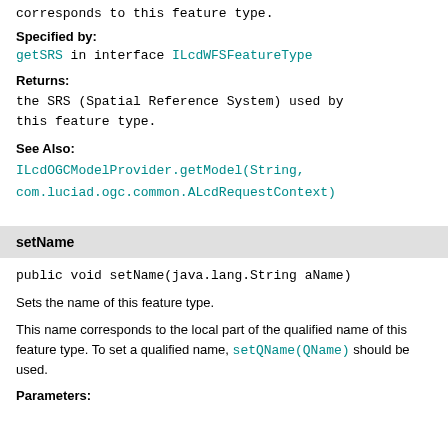corresponds to this feature type.
Specified by:
getSRS in interface ILcdWFSFeatureType
Returns:
the SRS (Spatial Reference System) used by this feature type.
See Also:
ILcdOGCModelProvider.getModel(String, com.luciad.ogc.common.ALcdRequestContext)
setName
public void setName(java.lang.String aName)
Sets the name of this feature type.
This name corresponds to the local part of the qualified name of this feature type. To set a qualified name, setQName(QName) should be used.
Parameters: